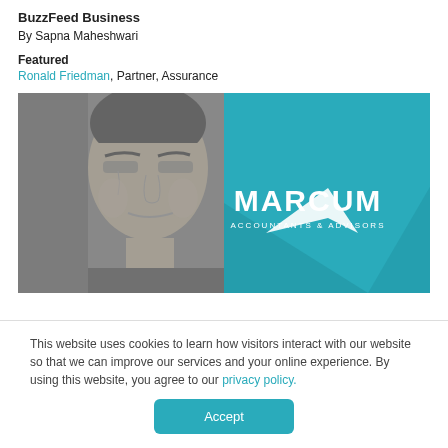BuzzFeed Business
By Sapna Maheshwari
Featured
Ronald Friedman, Partner, Assurance
[Figure (photo): Black and white photo of a man on the left half, teal Marcum Accountants & Advisors logo on the right half]
This website uses cookies to learn how visitors interact with our website so that we can improve our services and your online experience. By using this website, you agree to our privacy policy.
Accept